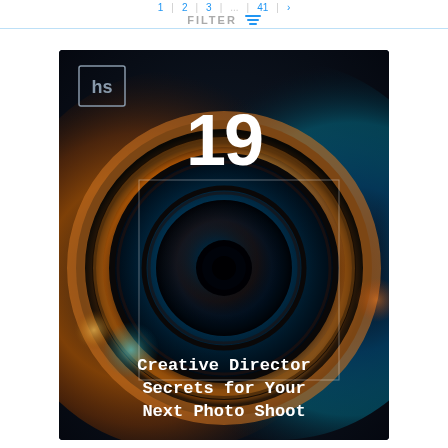1 | 2 | 3 | ... | 41 | >
FILTER
[Figure (photo): Camera lens close-up with teal and orange bokeh lighting, overlaid with white text reading '19 Creative Director Secrets for Your Next Photo Shoot' and an 'hs' logo in the top left corner]